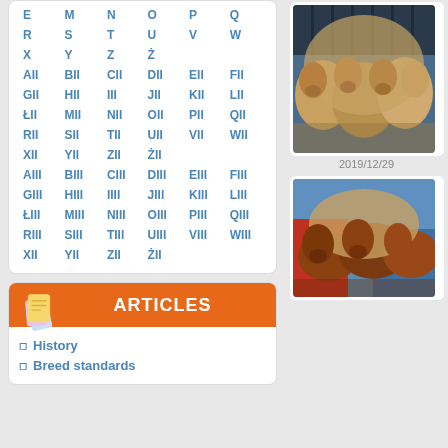| E | M | N | O | P | Q |
| R | S | T | U | V | W |
| X | Y | Z | Ż |  |  |
| AII | BII | CII | DII | EII | FII |
| GII | HII | III | JII | KII | LII |
| ŁII | MII | NII | OII | PII | QII |
| RII | SII | TII | UII | VII | WII |
| XII | YII | ZII | ŻII |  |  |
| AIII | BIII | CIII | DIII | EIII | FIII |
| GIII | HIII | IIII | JIII | KIII | LIII |
| ŁIII | MIII | NIII | OIII | PIII | QIII |
| RIII | SIII | TIII | UIII | VIII | WIII |
| XII | YII | ZII | ŻII |  |  |
[Figure (photo): Puppies nursing or huddled together, golden/fawn colored dogs]
2019/12/29
ARTICLES
History
Breed standards
[Figure (photo): Puppies with reddish-brown coloring in a cage with red and blue elements]